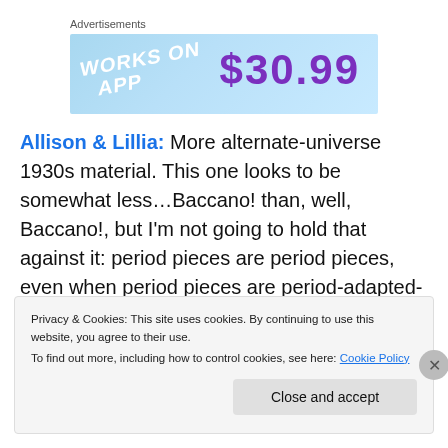Advertisements
[Figure (illustration): Advertisement banner showing 'WORKS ON APP' text in white on blue background and '$30.99' price in purple]
Allison & Lillia: More alternate-universe 1930s material. This one looks to be somewhat less…Baccano! than, well, Baccano!, but I'm not going to hold that against it: period pieces are period pieces, even when period pieces are period-adapted-into-fantasy-setting pieces. Plus, girls
Privacy & Cookies: This site uses cookies. By continuing to use this website, you agree to their use.
To find out more, including how to control cookies, see here: Cookie Policy
Close and accept